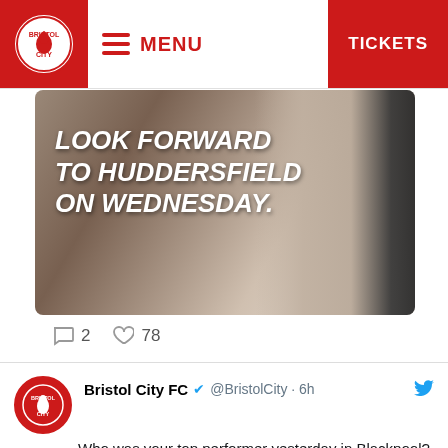MENU  TICKETS
[Figure (photo): Partial image of a Bristol City footballer with text overlay reading 'LOOK FORWARD TO HUDDERSFIELD ON WEDNESDAY.']
2  78
Bristol City FC @BristolCity · 6h
Who was your top performer yesterday in Blackpool? 🗳️
[Figure (bar-chart): Top performer poll]